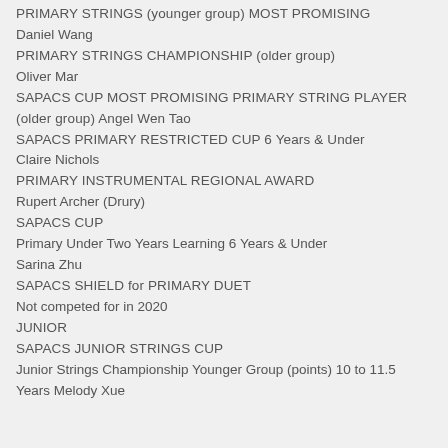PRIMARY STRINGS (younger group) MOST PROMISING
Daniel Wang
PRIMARY STRINGS CHAMPIONSHIP (older group)
Oliver Mar
SAPACS CUP MOST PROMISING PRIMARY STRING PLAYER (older group) Angel Wen Tao
SAPACS PRIMARY RESTRICTED CUP 6 Years & Under
Claire Nichols
PRIMARY INSTRUMENTAL REGIONAL AWARD
Rupert Archer (Drury)
SAPACS CUP
Primary Under Two Years Learning 6 Years & Under
Sarina Zhu
SAPACS SHIELD for PRIMARY DUET
Not competed for in 2020
JUNIOR
SAPACS JUNIOR STRINGS CUP
Junior Strings Championship Younger Group (points) 10 to 11.5 Years Melody Xue